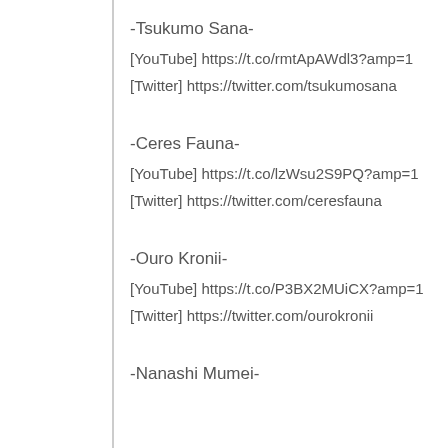-Tsukumo Sana-
[YouTube] https://t.co/rmtApAWdl3?amp=1
[Twitter] https://twitter.com/tsukumosana
-Ceres Fauna-
[YouTube] https://t.co/lzWsu2S9PQ?amp=1
[Twitter] https://twitter.com/ceresfauna
-Ouro Kronii-
[YouTube] https://t.co/P3BX2MUiCX?amp=1
[Twitter] https://twitter.com/ourokronii
-Nanashi Mumei-